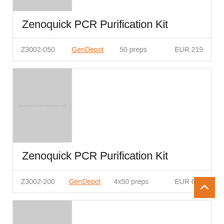[Figure (photo): Partially visible product image of Zenoquick PCR Purification Kit (top portion cut off)]
Zenoquick PCR Purification Kit
| SKU | Supplier | Size | Price |
| --- | --- | --- | --- |
| Z3002-050 | GenDepot | 50 preps | EUR 219 |
[Figure (photo): Product image of Zenoquick PCR Purification Kit with label text]
Zenoquick PCR Purification Kit
| SKU | Supplier | Size | Price |
| --- | --- | --- | --- |
| Z3002-200 | GenDepot | 4x50 preps | EUR 631 |
[Figure (photo): Partially visible product image at the bottom of the page]